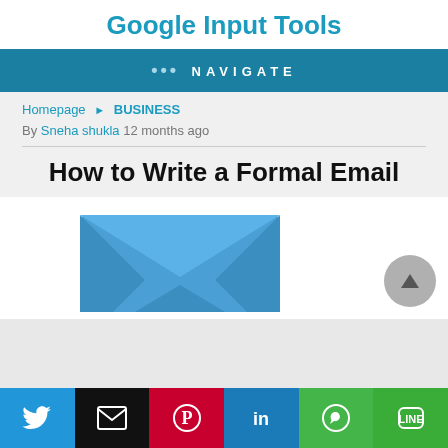Google Input Tools
••• NAVIGATE
Homepage ▶ BUSINESS
By Sneha shukla 12 months ago
How to Write a Formal Email
[Figure (illustration): Blue envelope icon representing email, displayed on a white card background with a scroll-to-top arrow button in the bottom right.]
[Figure (infographic): Social sharing bar with Twitter, Email, Pinterest, LinkedIn, WhatsApp, and LINE buttons.]